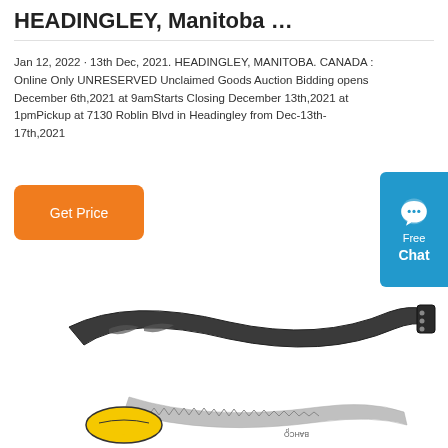HEADINGLEY, Manitoba …
Jan 12, 2022 · 13th Dec, 2021. HEADINGLEY, MANITOBA. CANADA : Online Only UNRESERVED Unclaimed Goods Auction Bidding opens December 6th,2021 at 9amStarts Closing December 13th,2021 at 1pmPickup at 7130 Roblin Blvd in Headingley from Dec-13th-17th,2021
[Figure (other): Orange 'Get Price' button]
[Figure (other): Blue chat widget with speech bubble icon, 'Free Chat' text]
[Figure (photo): Product image: a curved folding pruning saw (Bahco brand) with black handle and yellow/grey folding blade, shown open/extended, viewed from above on white background]